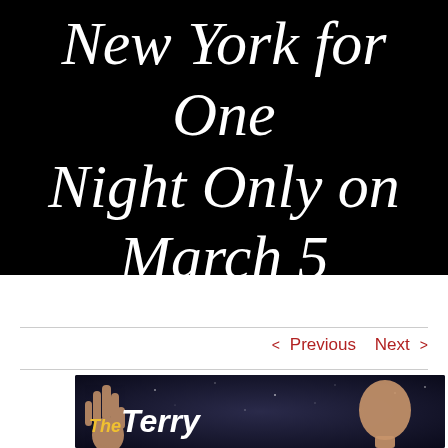New York for One Night Only on March 5
< Previous   Next >
[Figure (photo): Thumbnail image with dark background showing a raised hand and a person's head, with logo text 'The Terry' in yellow and white bold italic font]